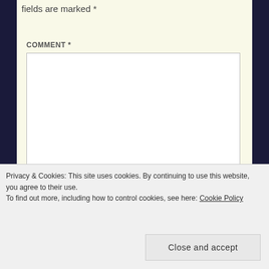Your email address will not be published. Required fields are marked *
COMMENT *
NAME *
WEBSITE
Privacy & Cookies: This site uses cookies. By continuing to use this website, you agree to their use.
To find out more, including how to control cookies, see here: Cookie Policy
Close and accept